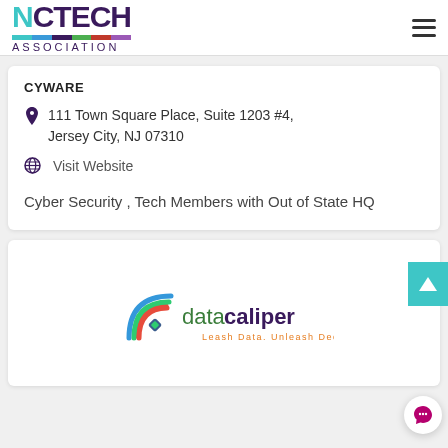NC TECH Association
CYWARE
111 Town Square Place, Suite 1203 #4, Jersey City, NJ 07310
Visit Website
Cyber Security , Tech Members with Out of State HQ
[Figure (logo): Data Caliper logo with tagline 'Leash Data. Unleash Decisions.']